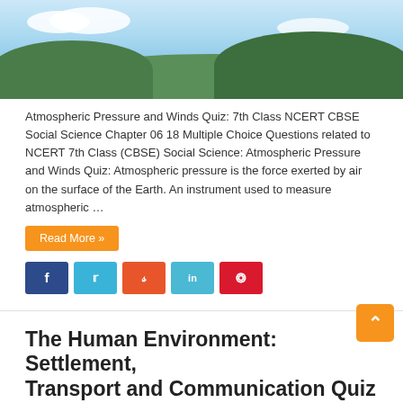[Figure (photo): Landscape photo showing blue sky with clouds and green hills/mountains in the background]
Atmospheric Pressure and Winds Quiz: 7th Class NCERT CBSE Social Science Chapter 06 18 Multiple Choice Questions related to NCERT 7th Class (CBSE) Social Science: Atmospheric Pressure and Winds Quiz: Atmospheric pressure is the force exerted by air on the surface of the Earth. An instrument used to measure atmospheric …
Read More »
[Figure (other): Social media share buttons: Facebook (f), Twitter, StumbleUpon, LinkedIn (in), Pinterest]
The Human Environment: Settlement, Transport and Communication Quiz
© January 20, 2018   📁 7th Class, Social Science   👁 6,438
[Figure (photo): Bottom image showing green foliage with text 'Social Science' overlaid in white]